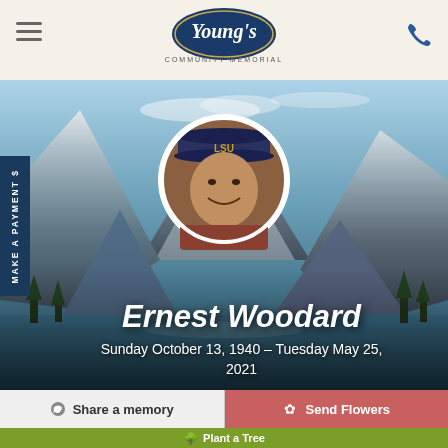[Figure (logo): Young's Community Memorial logo — oval blue badge with cursive 'Young's' and 'COMMUNITY MEMORIAL' below]
[Figure (photo): Hero banner with mountain lake landscape background. Circular portrait photo of Ernest Woodard, an elderly man wearing an LSU cap and plaid shirt, smiling.]
Ernest Woodard
Sunday October 13, 1940 – Tuesday May 25, 2021
Share a memory
Send Flowers
Plant a Tree